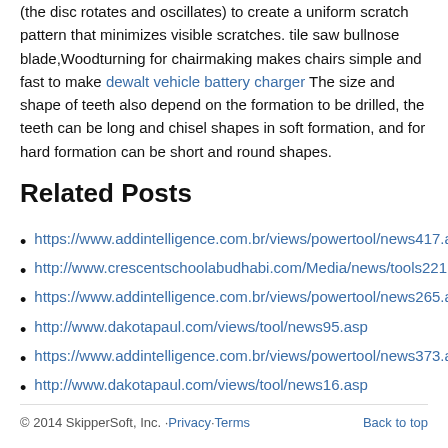(the disc rotates and oscillates) to create a uniform scratch pattern that minimizes visible scratches. tile saw bullnose blade,Woodturning for chairmaking makes chairs simple and fast to make dewalt vehicle battery charger The size and shape of teeth also depend on the formation to be drilled, the teeth can be long and chisel shapes in soft formation, and for hard formation can be short and round shapes.
Related Posts
https://www.addintelligence.com.br/views/powertool/news417.a
http://www.crescentschoolabudhabi.com/Media/news/tools221.
https://www.addintelligence.com.br/views/powertool/news265.a
http://www.dakotapaul.com/views/tool/news95.asp
https://www.addintelligence.com.br/views/powertool/news373.a
http://www.dakotapaul.com/views/tool/news16.asp
© 2014 SkipperSoft, Inc. · Privacy · Terms   Back to top